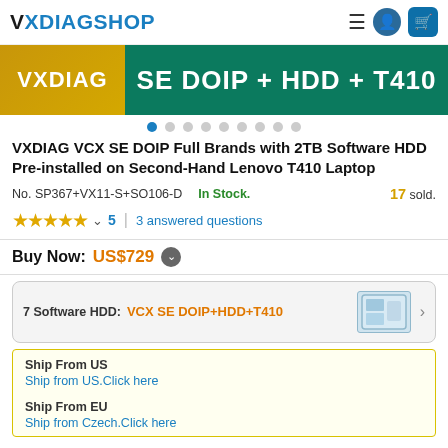VXDIAGSHOP
[Figure (photo): Banner image showing VXDIAG SE DOIP + HDD + T410 product advertisement with gold and green background]
VXDIAG VCX SE DOIP Full Brands with 2TB Software HDD Pre-installed on Second-Hand Lenovo T410 Laptop
No. SP367+VX11-S+SO106-D   In Stock.   17 sold.
★★★★★ ˅  5  |  3 answered questions
Buy Now: US$729 ⊙
7 Software HDD: VCX SE DOIP+HDD+T410
Ship From US
Ship from US.Click here

Ship From EU
Ship from Czech.Click here
Shipping: 🇺🇸 US$74   Ship to: United States  ✎
Express Shipping Service   Estimated delivery time: 5